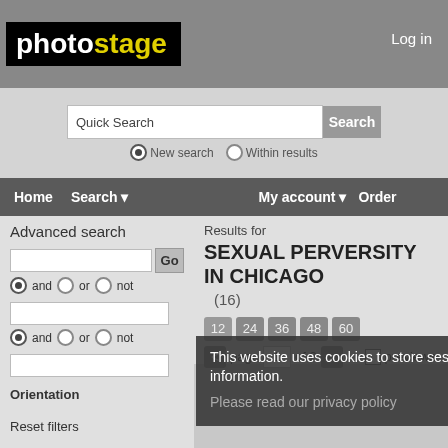[Figure (screenshot): photostage logo — white 'photo' and yellow 'stage' on black background]
Log in
Quick Search
New search    Within results
Home   Search ▾   My account ▾   Order
Advanced search
Results for SEXUAL PERVERSITY IN CHICAGO (16)
12  24  36  48  60
< page 1 of 2 >  previews
and  or  not
and  or  not
Orientation
Reset filters
This website uses cookies to store ses information.
Please read our privacy policy